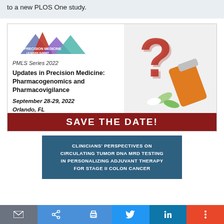to a new PLOS One study.
[Figure (infographic): Precision Medicine Leaders Summit conference advertisement with mountain logo, question mark and pill bottle image. PMLS Series 2022. Updates in Precision Medicine: Pharmacogenomics and Pharmacovigilance. September 28-29, 2022. Orlando, FL. SAVE THE DATE!]
[Figure (infographic): Dark teal card: CLINICIANS' PERSPECTIVES ON CIRCULATING TUMOR DNA MRD TESTING IN PERSONALIZING ADJUVANT THERAPY FOR STAGE II COLON CANCER]
Email | Share | Print | Twitter | LinkedIn | More